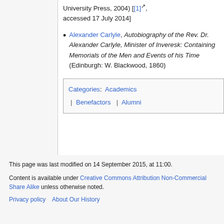University Press, 2004) [[1], accessed 17 July 2014]
Alexander Carlyle, Autobiography of the Rev. Dr. Alexander Carlyle, Minister of Inveresk: Containing Memorials of the Men and Events of his Time (Edinburgh: W. Blackwood, 1860)
| Categories: | Academics | Benefactors | Alumni |
| --- | --- | --- | --- |
This page was last modified on 14 September 2015, at 11:00.
Content is available under Creative Commons Attribution Non-Commercial Share Alike unless otherwise noted.
Privacy policy   About Our History